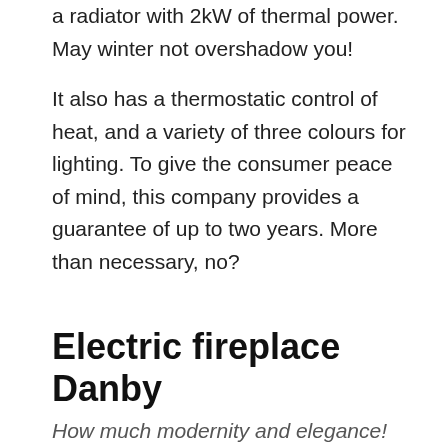a radiator with 2kW of thermal power. May winter not overshadow you!
It also has a thermostatic control of heat, and a variety of three colours for lighting. To give the consumer peace of mind, this company provides a guarantee of up to two years. More than necessary, no?
Electric fireplace Danby
How much modernity and elegance!